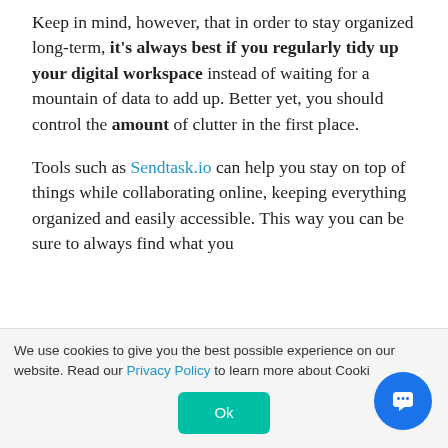Keep in mind, however, that in order to stay organized long-term, it's always best if you regularly tidy up your digital workspace instead of waiting for a mountain of data to add up. Better yet, you should control the amount of clutter in the first place.
Tools such as Sendtask.io can help you stay on top of things while collaborating online, keeping everything organized and easily accessible. This way you can be sure to always find what you
We use cookies to give you the best possible experience on our website. Read our Privacy Policy to learn more about Cooki...